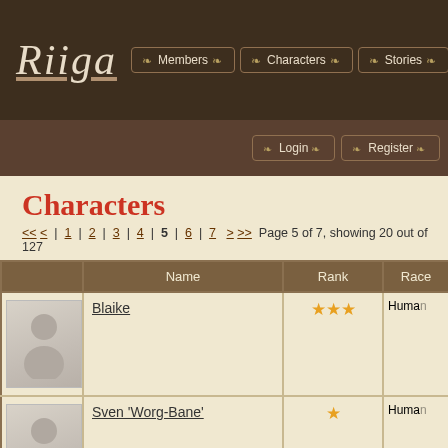Riiga — Members | Characters | Stories
Login | Register
Characters
<< < | 1 | 2 | 3 | 4 | 5 | 6 | 7 > >> Page 5 of 7, showing 20 out of 127
|  | Name | Rank | Race |
| --- | --- | --- | --- |
| [avatar] | Blaike | ★★★ | Human |
| [avatar] | Sven 'Worg-Bane' | ★ | Human |
|  | Gautkin | ★★★★★★ ★ | Karithi |
| [avatar] | Nesa Nugj | ★ | Human |